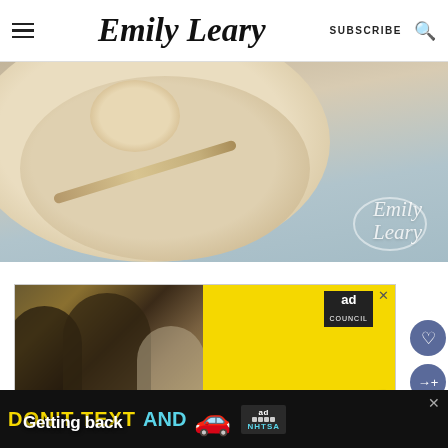Emily Leary — SUBSCRIBE
[Figure (photo): Close-up food photography showing a wooden board with a plate and spoon on a light blue fabric background, with an Emily Leary watermark in the lower right]
[Figure (photo): Ad Council advertisement showing group of friends laughing with yellow background and 'IT'S UP TO YOU VACCINATION' text and 'Getting back' text]
[Figure (photo): Bottom banner advertisement: 'DON'T TEXT AND' with a red car emoji and NHTSA ad council badge, on black background]